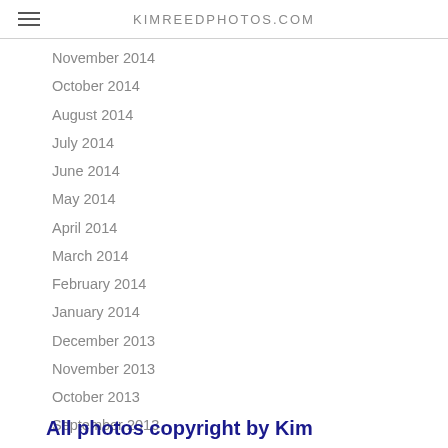KIMREEDPHOTOS.COM
November 2014
October 2014
August 2014
July 2014
June 2014
May 2014
April 2014
March 2014
February 2014
January 2014
December 2013
November 2013
October 2013
September 2013
August 2013
July 2013
June 2013
All photos copyright by Kim